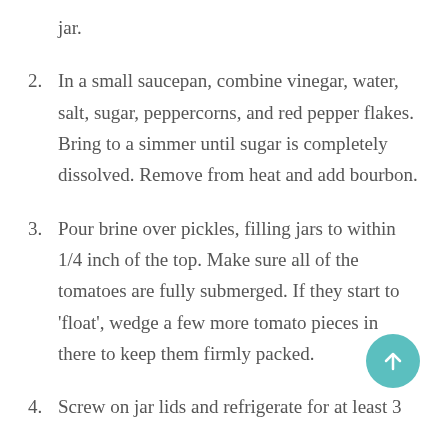jar.
2. In a small saucepan, combine vinegar, water, salt, sugar, peppercorns, and red pepper flakes. Bring to a simmer until sugar is completely dissolved. Remove from heat and add bourbon.
3. Pour brine over pickles, filling jars to within 1/4 inch of the top. Make sure all of the tomatoes are fully submerged. If they start to 'float', wedge a few more tomato pieces in there to keep them firmly packed.
4. Screw on jar lids and refrigerate for at least 3